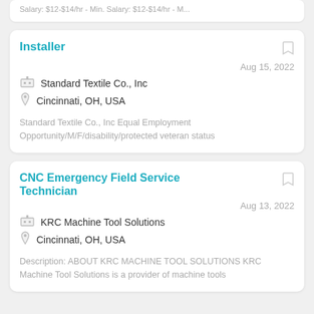Salary: $12-$14/hr - Min. Salary: $12-$14/hr - M...
Installer
Standard Textile Co., Inc
Cincinnati, OH, USA
Aug 15, 2022
Standard Textile Co., Inc Equal Employment Opportunity/M/F/disability/protected veteran status
CNC Emergency Field Service Technician
KRC Machine Tool Solutions
Cincinnati, OH, USA
Aug 13, 2022
Description: ABOUT KRC MACHINE TOOL SOLUTIONS KRC Machine Tool Solutions is a provider of machine tools